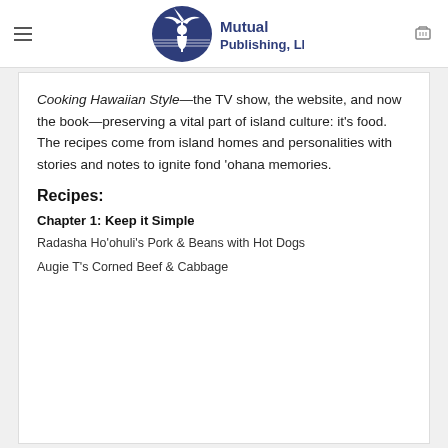Mutual Publishing, LLC
Cooking Hawaiian Style—the TV show, the website, and now the book—preserving a vital part of island culture: it's food. The recipes come from island homes and personalities with stories and notes to ignite fond 'ohana memories.
Recipes:
Chapter 1: Keep it Simple
Radasha Ho'ohuli's Pork & Beans with Hot Dogs
Augie T's Corned Beef & Cabbage